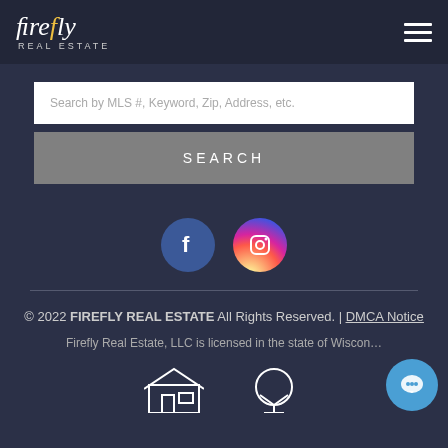firefly REAL ESTATE
Search by MLS #, Keyword, Zip, Address, etc.
SEARCH
[Figure (logo): Facebook and Instagram social media icons as circular buttons]
© 2022 FIREFLY REAL ESTATE All Rights Reserved. | DMCA Notice
Firefly Real Estate, LLC is licensed in the state of Wisconsin